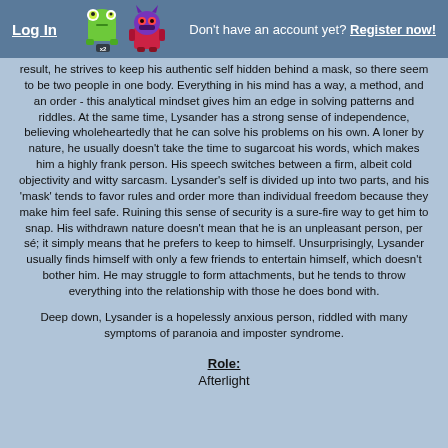Log In   Don't have an account yet? Register now!
result, he strives to keep his authentic self hidden behind a mask, so there seem to be two people in one body. Everything in his mind has a way, a method, and an order - this analytical mindset gives him an edge in solving patterns and riddles. At the same time, Lysander has a strong sense of independence, believing wholeheartedly that he can solve his problems on his own. A loner by nature, he usually doesn't take the time to sugarcoat his words, which makes him a highly frank person. His speech switches between a firm, albeit cold objectivity and witty sarcasm. Lysander's self is divided up into two parts, and his 'mask' tends to favor rules and order more than individual freedom because they make him feel safe. Ruining this sense of security is a sure-fire way to get him to snap. His withdrawn nature doesn't mean that he is an unpleasant person, per sé; it simply means that he prefers to keep to himself. Unsurprisingly, Lysander usually finds himself with only a few friends to entertain himself, which doesn't bother him. He may struggle to form attachments, but he tends to throw everything into the relationship with those he does bond with.
Deep down, Lysander is a hopelessly anxious person, riddled with many symptoms of paranoia and imposter syndrome.
Role:
Afterlight